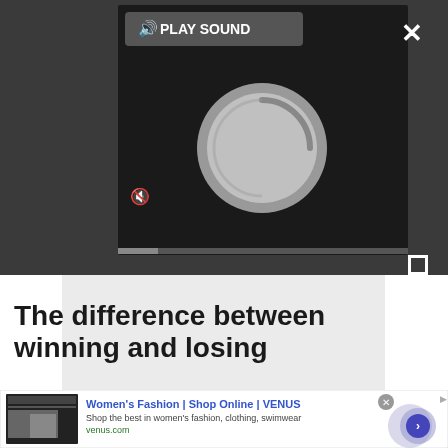[Figure (screenshot): Video player UI on dark background with PLAY SOUND button, speaker icon, mute icon, loading spinner, and an X close button and fullscreen expand button on the right side]
[Figure (screenshot): Light gray content placeholder area below the video player]
The difference between winning and losing
[Figure (screenshot): Advertisement banner: Women's Fashion | Shop Online | VENUS - Shop the best in women's fashion, clothing, swimwear - venus.com, with fashion image on left and circular button on right]